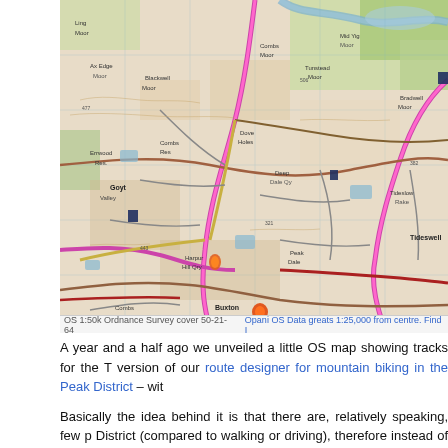[Figure (map): Ordnance Survey topographic map showing an area of the Peak District with road networks, settlements, bridleways, and terrain features. Pink/magenta lines indicate major roads, brown/dark lines show tracks and bridleways, and the map grid is visible.]
OS 1:50k Ordnance Survey cover 50-21-64   Opani OS Data greats 1:25,000 from centre. Find I
A year and a half ago we unveiled a little OS map showing tracks for the T version of our route designer for mountain biking in the Peak District – wit
Basically the idea behind it is that there are, relatively speaking, few p District (compared to walking or driving), therefore instead of people co parts of routes, all the bridleways and joining road could pre-programmed